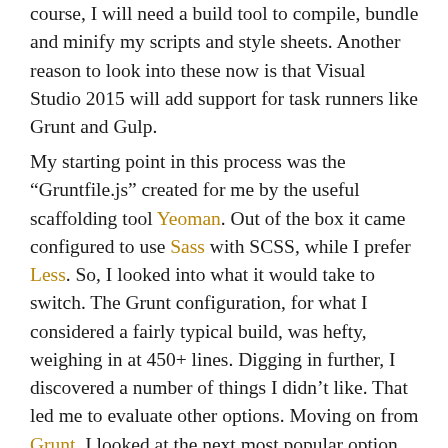course, I will need a build tool to compile, bundle and minify my scripts and style sheets. Another reason to look into these now is that Visual Studio 2015 will add support for task runners like Grunt and Gulp.
My starting point in this process was the “Gruntfile.js” created for me by the useful scaffolding tool Yeoman. Out of the box it came configured to use Sass with SCSS, while I prefer Less. So, I looked into what it would take to switch. The Grunt configuration, for what I considered a fairly typical build, was hefty, weighing in at 450+ lines. Digging in further, I discovered a number of things I didn’t like. That led me to evaluate other options. Moving on from Grunt, I looked at the next most popular option, Gulp. Then, I investigated the less common Brunch...